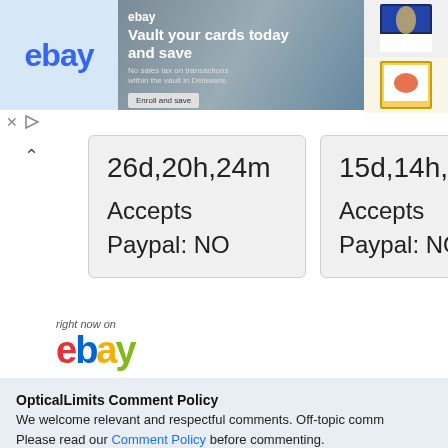[Figure (screenshot): eBay advertisement banner: 'Vault your cards today and save. No sales tax on transactions within the vault in Delaware. Enroll and save.' with trading cards images on right.]
26d,20h,24m
Accepts Paypal: NO
15d,14h,45m
Accepts Paypal: NO
[Figure (logo): eBay logo with 'right now on' text above]
OpticalLimits Comment Policy
We welcome relevant and respectful comments. Off-topic comm... Please read our Comment Policy before commenting.